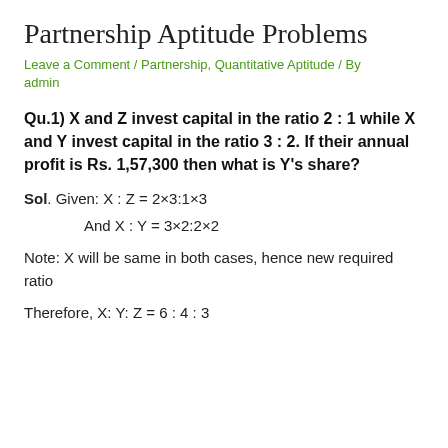Partnership Aptitude Problems
Leave a Comment / Partnership, Quantitative Aptitude / By admin
Qu.1) X and Z invest capital in the ratio 2 : 1 while X and Y invest capital in the ratio 3 : 2. If their annual profit is Rs. 1,57,300 then what is Y's share?
Sol. Given:  X : Z = 2×3:1×3
And X : Y =  3×2:2×2
Note: X will be same in both cases, hence new required ratio
Therefore, X: Y: Z  = 6 : 4 : 3